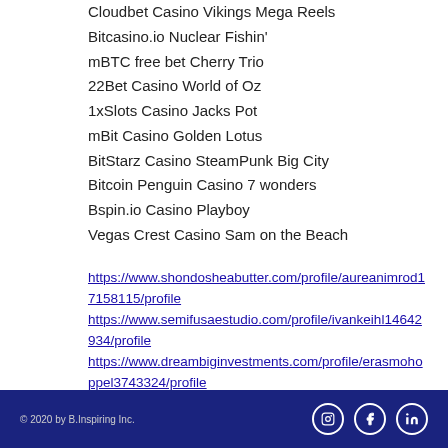Cloudbet Casino Vikings Mega Reels
Bitcasino.io Nuclear Fishin'
mBTC free bet Cherry Trio
22Bet Casino World of Oz
1xSlots Casino Jacks Pot
mBit Casino Golden Lotus
BitStarz Casino SteamPunk Big City
Bitcoin Penguin Casino 7 wonders
Bspin.io Casino Playboy
Vegas Crest Casino Sam on the Beach
https://www.shondosheabutter.com/profile/aureanimrod17158115/profile
https://www.semifusaestudio.com/profile/ivankeihl14642934/profile
https://www.dreambiginvestments.com/profile/erasmohoppel3743324/profile
https://www.clearwindowscleaning.co.uk/profile/dickcrosno8931636/profile
© 2020 by B.Inspiring Inc.